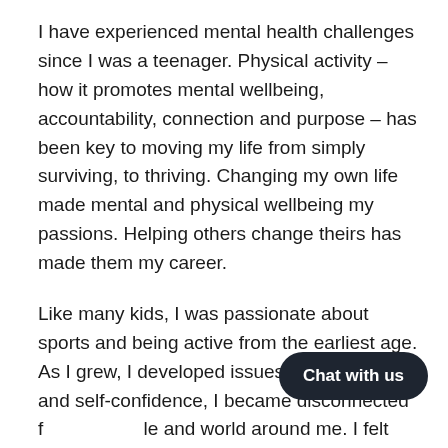I have experienced mental health challenges since I was a teenager. Physical activity – how it promotes mental wellbeing, accountability, connection and purpose – has been key to moving my life from simply surviving, to thriving. Changing my own life made mental and physical wellbeing my passions. Helping others change theirs has made them my career.
Like many kids, I was passionate about sports and being active from the earliest age. As I grew, I developed issues with my weight and self-confidence, I became disconnected from people and world around me. I felt caged. I had no direction and no support. I went down a spiral